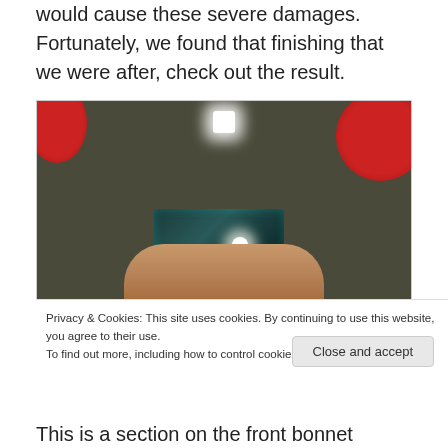would cause these severe damages. Fortunately, we found that finishing that we were after, check out the result.
[Figure (photo): A person holding a smartphone taking a mirror selfie in a dark room, with red objects visible in the upper corners and a bright camera flash. A cookie consent banner overlays the bottom portion of the image.]
Privacy & Cookies: This site uses cookies. By continuing to use this website, you agree to their use.
To find out more, including how to control cookies, see here: Cookie Policy
This is a section on the front bonnet whereby we saw